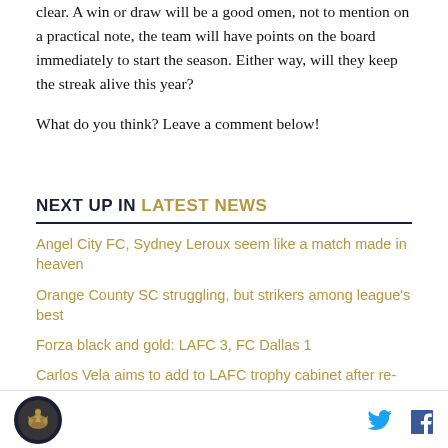clear. A win or draw will be a good omen, not to mention on a practical note, the team will have points on the board immediately to start the season. Either way, will they keep the streak alive this year?

What do you think? Leave a comment below!
NEXT UP IN LATEST NEWS
Angel City FC, Sydney Leroux seem like a match made in heaven
Orange County SC struggling, but strikers among league's best
Forza black and gold: LAFC 3, FC Dallas 1
Carlos Vela aims to add to LAFC trophy cabinet after re-